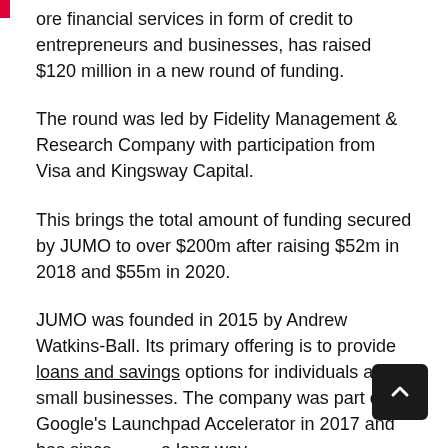...ore financial services in form of credit to entrepreneurs and businesses, has raised $120 million in a new round of funding.
The round was led by Fidelity Management & Research Company with participation from Visa and Kingsway Capital.
This brings the total amount of funding secured by JUMO to over $200m after raising $52m in 2018 and $55m in 2020.
JUMO was founded in 2015 by Andrew Watkins-Ball. Its primary offering is to provide loans and savings options for individuals and small businesses. The company was part of Google's Launchpad Accelerator in 2017 and has since come a long way.